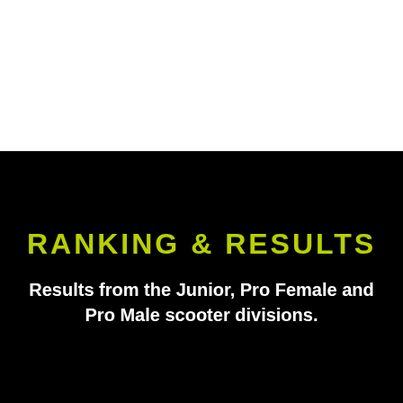[Figure (photo): White area occupying the top portion of the page, representing a photo or image region.]
RANKING & RESULTS
Results from the Junior, Pro Female and Pro Male scooter divisions.